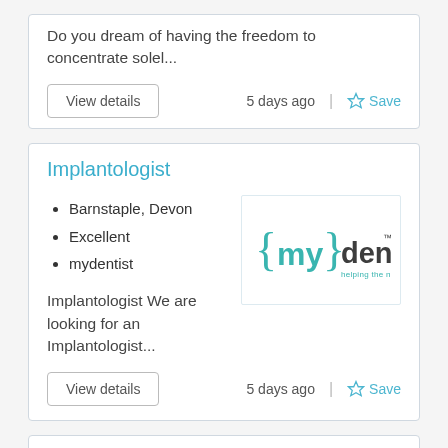Do you dream of having the freedom to concentrate solel...
View details
5 days ago
Save
Implantologist
Barnstaple, Devon
Excellent
mydentist
[Figure (logo): mydentist logo — curly braces around 'my' in teal, 'dentist' in dark grey, tagline 'helping the nation smile' in teal below]
Implantologist We are looking for an Implantologist...
View details
5 days ago
Save